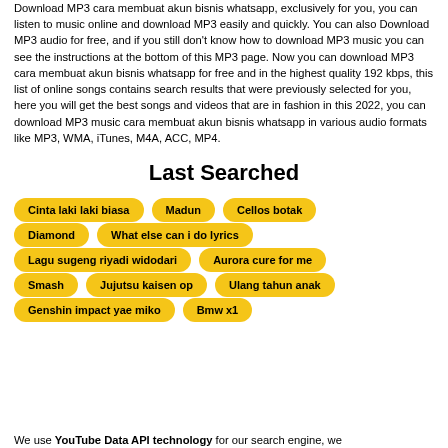Download MP3 cara membuat akun bisnis whatsapp, exclusively for you, you can listen to music online and download MP3 easily and quickly. You can also Download MP3 audio for free, and if you still don't know how to download MP3 music you can see the instructions at the bottom of this MP3 page. Now you can download MP3 cara membuat akun bisnis whatsapp for free and in the highest quality 192 kbps, this list of online songs contains search results that were previously selected for you, here you will get the best songs and videos that are in fashion in this 2022, you can download MP3 music cara membuat akun bisnis whatsapp in various audio formats like MP3, WMA, iTunes, M4A, ACC, MP4.
Last Searched
Cinta laki laki biasa
Madun
Cellos botak
Diamond
What else can i do lyrics
Lagu sugeng riyadi widodari
Aurora cure for me
Smash
Jujutsu kaisen op
Ulang tahun anak
Genshin impact yae miko
Bmw x1
We use YouTube Data API technology for our search engine, we